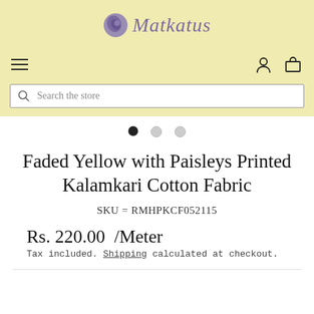[Figure (logo): Matkatus logo with purple spiral circle icon and italic purple text 'Matkatus']
[Figure (screenshot): Navigation bar with hamburger menu icon on left and user/cart icons on right, on beige background]
[Figure (screenshot): Search bar with magnifying glass icon and placeholder text 'Search the store']
[Figure (other): Image carousel dot navigation with 3 dots, first dot filled black, others grey]
Faded Yellow with Paisleys Printed Kalamkari Cotton Fabric
SKU = RMHPKCF052115
Rs. 220.00 /Meter
Tax included. Shipping calculated at checkout.